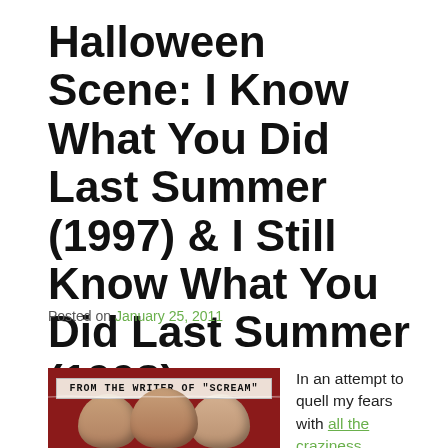Halloween Scene: I Know What You Did Last Summer (1997) & I Still Know What You Did Last Summer (1998)
Posted on January 25, 2011
[Figure (photo): Movie poster for I Know What You Did Last Summer showing three actors with a banner reading FROM THE WRITER OF SCREAM on a dark red background]
In an attempt to quell my fears with all the craziness yesterday I